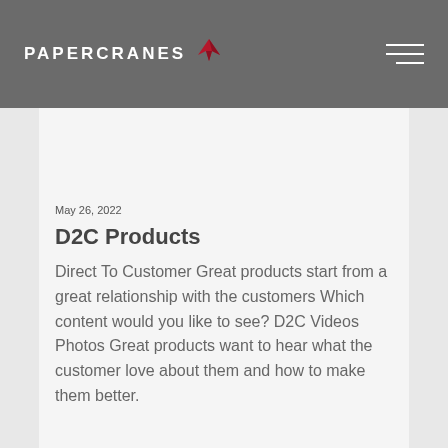PAPERCRANES
May 26, 2022
D2C Products
Direct To Customer Great products start from a great relationship with the customers Which content would you like to see? D2C Videos Photos Great products want to hear what the customer love about them and how to make them better.